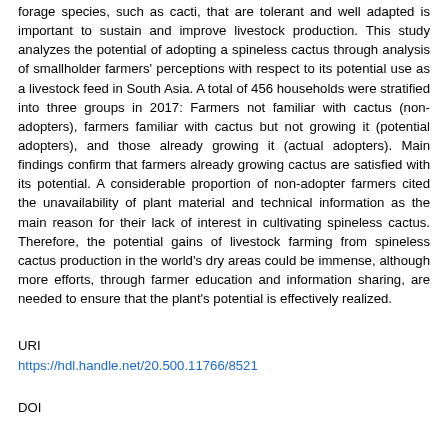forage species, such as cacti, that are tolerant and well adapted is important to sustain and improve livestock production. This study analyzes the potential of adopting a spineless cactus through analysis of smallholder farmers' perceptions with respect to its potential use as a livestock feed in South Asia. A total of 456 households were stratified into three groups in 2017: Farmers not familiar with cactus (non-adopters), farmers familiar with cactus but not growing it (potential adopters), and those already growing it (actual adopters). Main findings confirm that farmers already growing cactus are satisfied with its potential. A considerable proportion of non-adopter farmers cited the unavailability of plant material and technical information as the main reason for their lack of interest in cultivating spineless cactus. Therefore, the potential gains of livestock farming from spineless cactus production in the world's dry areas could be immense, although more efforts, through farmer education and information sharing, are needed to ensure that the plant's potential is effectively realized.
URI
https://hdl.handle.net/20.500.11766/8521
DOI